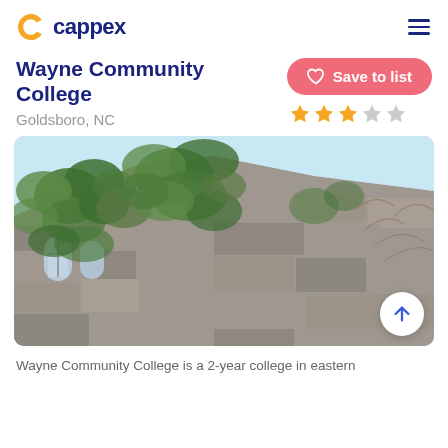cappex
Wayne Community College
Goldsboro, NC
[Figure (photo): Photo of a stone college building covered in green ivy vines, with arched windows visible, taken from a low angle against a light blue sky.]
Wayne Community College is a 2-year college in eastern